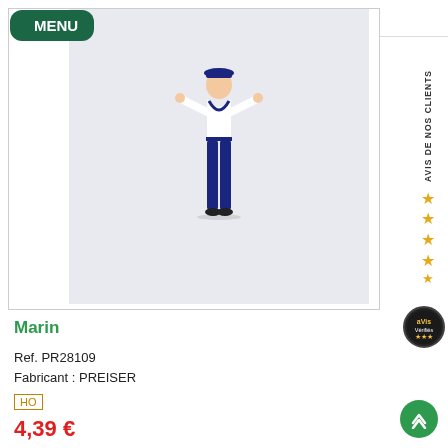MENU
[Figure (photo): A miniature figurine of a sailor wearing a white top with blue sailor collar, blue trousers, and a blue cap, with arms raised outward, standing on a light grey background.]
AVIS DE NOS CLIENTS ★★★★
Marin
Ref. PR28109
Fabricant : PREISER
HO
4,39 €